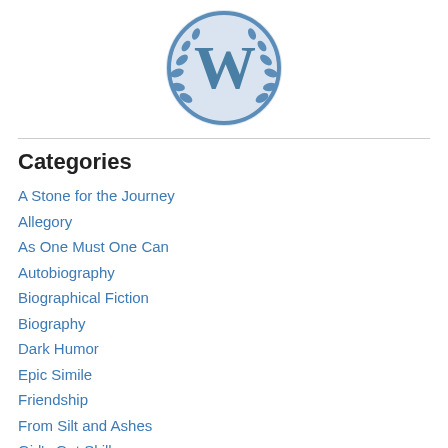[Figure (logo): WordPress logo — circular badge with a 'W' letter mark surrounded by laurel wreath in steel blue tones]
Categories
A Stone for the Journey
Allegory
As One Must One Can
Autobiography
Biographical Fiction
Biography
Dark Humor
Epic Simile
Friendship
From Silt and Ashes
Girl's Got Skills
Guy's got skills